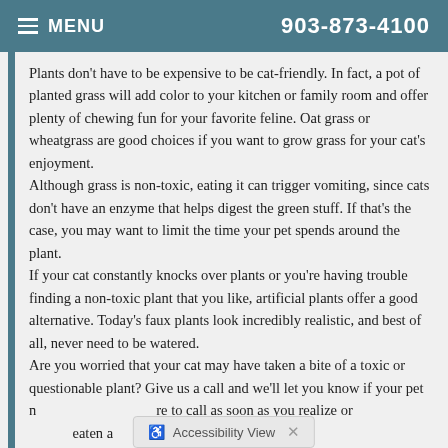MENU  903-873-4100
Plants don't have to be expensive to be cat-friendly. In fact, a pot of planted grass will add color to your kitchen or family room and offer plenty of chewing fun for your favorite feline. Oat grass or wheatgrass are good choices if you want to grow grass for your cat's enjoyment.
Although grass is non-toxic, eating it can trigger vomiting, since cats don't have an enzyme that helps digest the green stuff. If that's the case, you may want to limit the time your pet spends around the plant.
If your cat constantly knocks over plants or you're having trouble finding a non-toxic plant that you like, artificial plants offer a good alternative. Today's faux plants look incredibly realistic, and best of all, never need to be watered.
Are you worried that your cat may have taken a bite of a toxic or questionable plant? Give us a call and we'll let you know if your pet needs to be seen. Be sure to call as soon as you realize or suspect your cat has eaten a